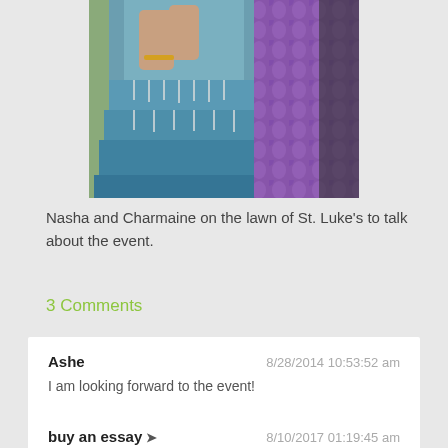[Figure (photo): Two women on a lawn, one wearing a blue tiered dress with tassels, the other in a purple patterned outfit. Photo is cropped showing their torsos/lower bodies only.]
Nasha and Charmaine on the lawn of St. Luke's to talk about the event.
3 Comments
Ashe
8/28/2014 10:53:52 am
I am looking forward to the event!
Reply
buy an essay ➜
8/10/2017 01:19:45 am
Two beautiful women who share a good outlook in